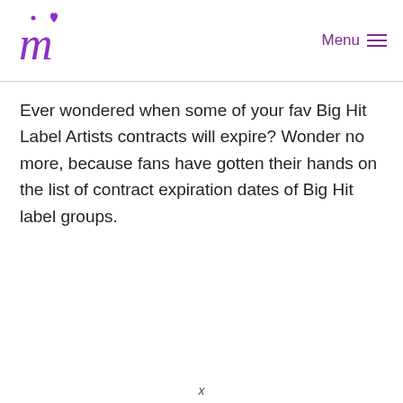Menu
Ever wondered when some of your fav Big Hit Label Artists contracts will expire? Wonder no more, because fans have gotten their hands on the list of contract expiration dates of Big Hit label groups.